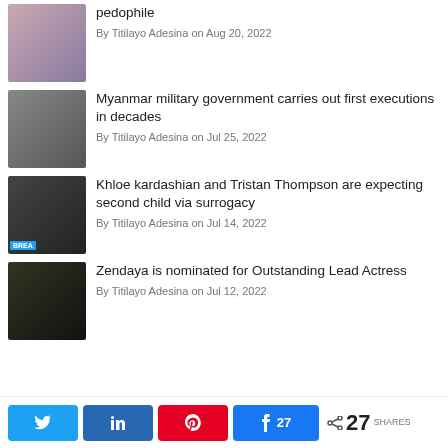pedophile
By Titilayo Adesina on Aug 20, 2022
Myanmar military government carries out first executions in decades
By Titilayo Adesina on Jul 25, 2022
Khloe kardashian and Tristan Thompson are expecting second child via surrogacy
By Titilayo Adesina on Jul 14, 2022
Zendaya is nominated for Outstanding Lead Actress
By Titilayo Adesina on Jul 12, 2022
27 SHARES